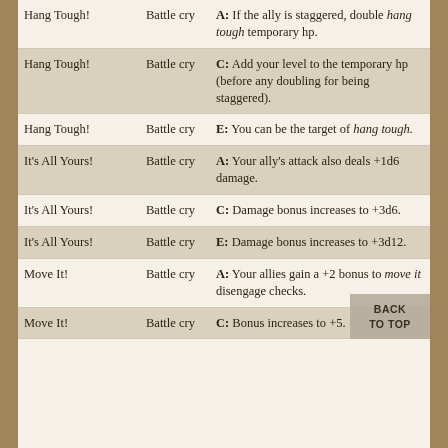| Name | Type | Effect |
| --- | --- | --- |
| Hang Tough! | Battle cry | A: If the ally is staggered, double hang tough temporary hp. |
| Hang Tough! | Battle cry | C: Add your level to the temporary hp (before any doubling for being staggered). |
| Hang Tough! | Battle cry | E: You can be the target of hang tough. |
| It's All Yours! | Battle cry | A: Your ally's attack also deals +1d6 damage. |
| It's All Yours! | Battle cry | C: Damage bonus increases to +3d6. |
| It's All Yours! | Battle cry | E: Damage bonus increases to +3d12. |
| Move It! | Battle cry | A: Your allies gain a +2 bonus to move it disengage checks. |
| Move It! | Battle cry | C: Bonus increases to +5. |